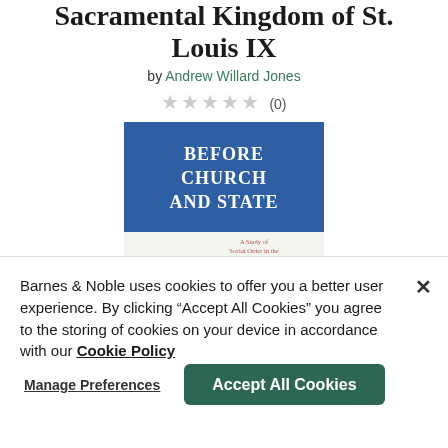Sacramental Kingdom of St. Louis IX
by Andrew Willard Jones
★★★★★ (0)
[Figure (illustration): Book cover for 'Before Church and State: A Study of Social Order in the Sacramental Kingdom of St. Louis IX'. Blue background with white serif title text and smaller red subtitle text.]
Barnes & Noble uses cookies to offer you a better user experience. By clicking "Accept All Cookies" you agree to the storing of cookies on your device in accordance with our Cookie Policy
Manage Preferences
Accept All Cookies